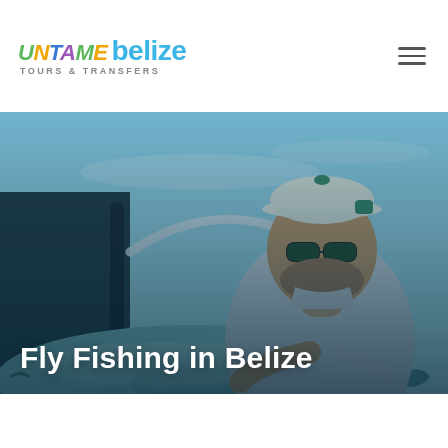[Figure (logo): Untame Belize Tours & Transfers logo with colorful text]
[Figure (photo): A man wearing sunglasses and a white cap holding a large fish (tarpon) with a clear blue sky background, hero image for Fly Fishing in Belize page]
Fly Fishing in Belize